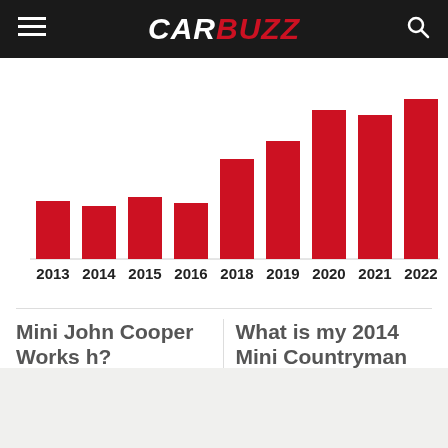CARBUZZ
[Figure (bar-chart): Mini John Cooper Works price by year]
Mini John Cooper Works h?
What is my 2014 Mini Countryman worth?
age is $9,391 - $23,802 with a
The average price ran